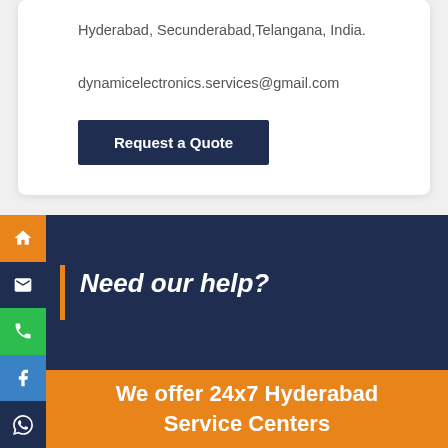Hyderabad, Secunderabad,Telangana, India.
dynamicelectronics.services@gmail.com
Request a Quote
Need our help?
We offer 24x7 Hyderabad Service Centers